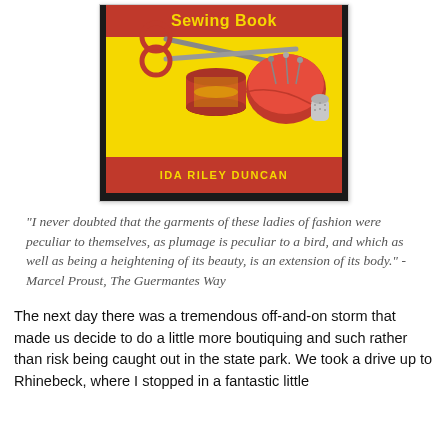[Figure (photo): Book cover of a sewing book with yellow background and red accents. Shows scissors, a spool of red thread, a red tomato pincushion with pins, and a thimble. Title area at top and author name 'IDA RILEY DUNCAN' at bottom in yellow text on red band.]
"I never doubted that the garments of these ladies of fashion were peculiar to themselves, as plumage is peculiar to a bird, and which as well as being a heightening of its beauty, is an extension of its body." - Marcel Proust, The Guermantes Way
The next day there was a tremendous off-and-on storm that made us decide to do a little more boutiquing and such rather than risk being caught out in the state park. We took a drive up to Rhinebeck, where I stopped in a fantastic little